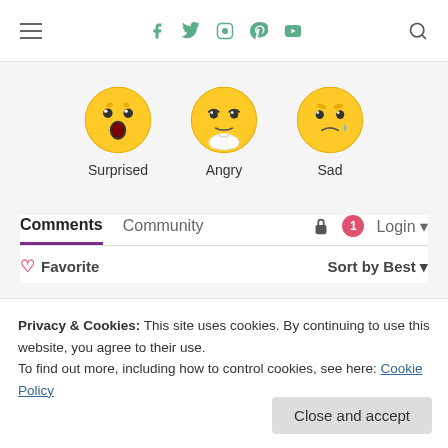Navigation header with hamburger menu, social icons (Facebook, Twitter, Instagram, Pinterest, YouTube), and search icon
[Figure (illustration): Three emoji faces: Surprised (open-mouth face), Angry (sneezing/crying face), Sad (crying face with teardrop)]
Surprised   Angry   Sad
Comments   Community   Login
♡ Favorite   Sort by Best
Start the discussion…
Privacy & Cookies: This site uses cookies. By continuing to use this website, you agree to their use.
To find out more, including how to control cookies, see here: Cookie Policy
Close and accept